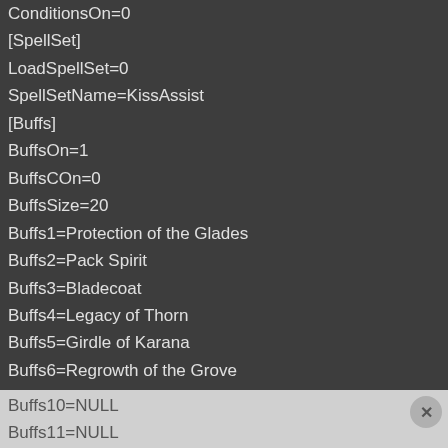ConditionsOn=0
[SpellSet]
LoadSpellSet=0
SpellSetName=KissAssist
[Buffs]
BuffsOn=1
BuffsCOn=0
BuffsSize=20
Buffs1=Protection of the Glades
Buffs2=Pack Spirit
Buffs3=Bladecoat
Buffs4=Legacy of Thorn
Buffs5=Girdle of Karana
Buffs6=Regrowth of the Grove
Buffs7=Circle of Seasons
Buffs8=null
Buffs9=Aura of the Grove|Aura
Buffs10=NULL
Buffs11=NULL
Buffs12=NULL